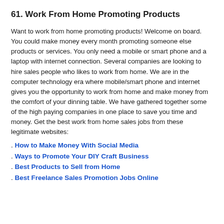61. Work From Home Promoting Products
Want to work from home promoting products! Welcome on board. You could make money every month promoting someone else products or services. You only need a mobile or smart phone and a laptop with internet connection. Several companies are looking to hire sales people who likes to work from home. We are in the computer technology era where mobile/smart phone and internet gives you the opportunity to work from home and make money from the comfort of your dinning table. We have gathered together some of the high paying companies in one place to save you time and money. Get the best work from home sales jobs from these legitimate websites:
. How to Make Money With Social Media
. Ways to Promote Your DIY Craft Business
. Best Products to Sell from Home
. Best Freelance Sales Promotion Jobs Online